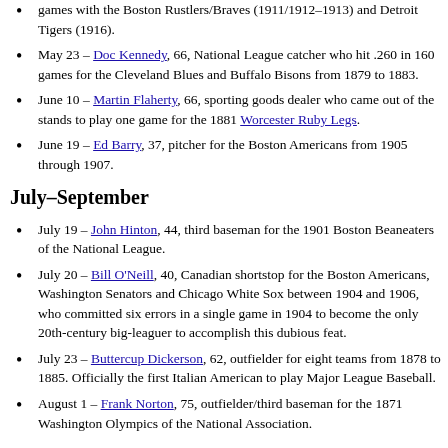games with the Boston Rustlers/Braves (1911/1912–1913) and Detroit Tigers (1916).
May 23 – Doc Kennedy, 66, National League catcher who hit .260 in 160 games for the Cleveland Blues and Buffalo Bisons from 1879 to 1883.
June 10 – Martin Flaherty, 66, sporting goods dealer who came out of the stands to play one game for the 1881 Worcester Ruby Legs.
June 19 – Ed Barry, 37, pitcher for the Boston Americans from 1905 through 1907.
July–September
July 19 – John Hinton, 44, third baseman for the 1901 Boston Beaneaters of the National League.
July 20 – Bill O'Neill, 40, Canadian shortstop for the Boston Americans, Washington Senators and Chicago White Sox between 1904 and 1906, who committed six errors in a single game in 1904 to become the only 20th-century big-leaguer to accomplish this dubious feat.
July 23 – Buttercup Dickerson, 62, outfielder for eight teams from 1878 to 1885. Officially the first Italian American to play Major League Baseball.
August 1 – Frank Norton, 75, outfielder/third baseman for the 1871 Washington Olympics of the National Association.